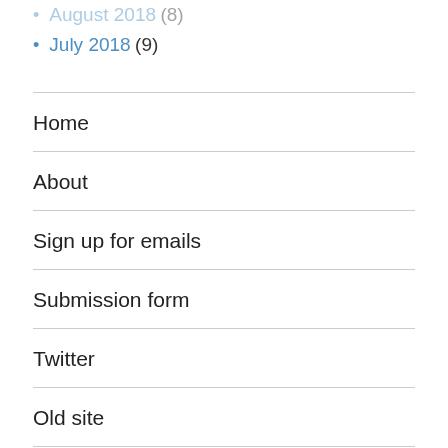August 2018 (8)
July 2018 (9)
Home
About
Sign up for emails
Submission form
Twitter
Old site